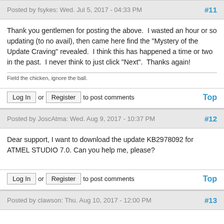Posted by fsykes: Wed. Jul 5, 2017 - 04:33 PM #11
Thank you gentlemen for posting the above.  I wasted an hour or so updating (to no avail), then came here find the "Mystery of the Update Craving" revealed.  I think this has happened a time or two in the past.  I never think to just click "Next".  Thanks again!
Field the chicken, ignore the ball.
Log In or Register to post comments   Top
Posted by JoscAtma: Wed. Aug 9, 2017 - 10:37 PM #12
Dear support, I want to download the update KB2978092 for ATMEL STUDIO 7.0. Can you help me, please?
Log In or Register to post comments   Top
Posted by clawson: Thu. Aug 10, 2017 - 12:00 PM #13